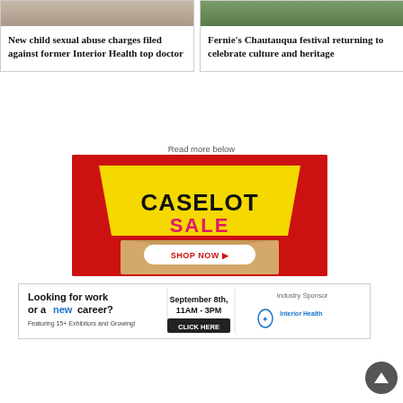[Figure (photo): Photo of a person, partially cropped at top of left card]
New child sexual abuse charges filed against former Interior Health top doctor
[Figure (photo): Outdoor/nature photo, partially cropped at top of right card]
Fernie's Chautauqua festival returning to celebrate culture and heritage
Read more below
[Figure (illustration): Caselot Sale advertisement banner with red background, yellow badge shape with CASELOT in black text, SALE in pink text, and SHOP NOW button on a cardboard box graphic]
[Figure (illustration): Job fair advertisement: Looking for work or a new career? Featuring 15+ Exhibitors and Growing! September 8th, 11AM-3PM, CLICK HERE. Industry Sponsor: Interior Health logo]